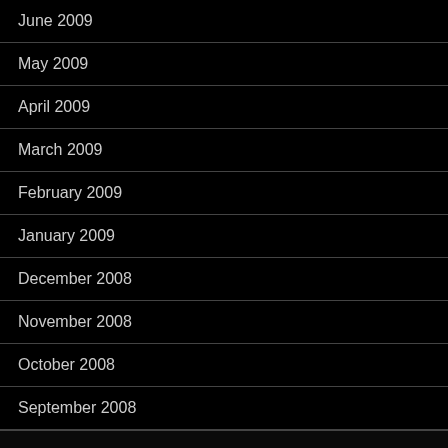June 2009
May 2009
April 2009
March 2009
February 2009
January 2009
December 2008
November 2008
October 2008
September 2008
Proudly powered by WordPress